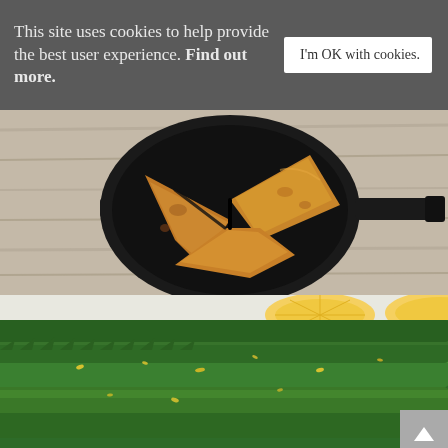This site uses cookies to help provide the best user experience. Find out more.
[Figure (photo): Cast iron skillet viewed from above on a wood surface, containing three golden-brown cooked bread/pancake wedges]
[Figure (photo): Close-up of fresh green asparagus spears with lemon zest and lemon slices in the background]